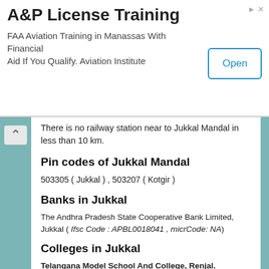[Figure (other): Advertisement banner: A&P License Training. FAA Aviation Training in Manassas With Financial Aid If You Qualify. Aviation Institute. Open button.]
There is no railway station near to Jukkal Mandal in less than 10 km.
Pin codes of Jukkal Mandal
503305 ( Jukkal ) , 503207 ( Kotgir )
Banks in Jukkal
The Andhra Pradesh State Cooperative Bank Limited, Jukkal ( Ifsc Code : APBL0018041 , micrCode: NA)
Colleges in Jukkal
Telangana Model School And College, Renjal.
Address : Samasthan Narayanapur
Rr Jr Collegs Lingampet
Address : Rr Jr Colleges Lingampet 503124
Svs